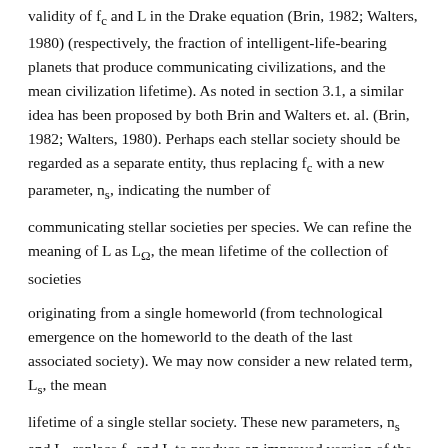validity of f_c and L in the Drake equation (Brin, 1982; Walters, 1980) (respectively, the fraction of intelligent-life-bearing planets that produce communicating civilizations, and the mean civilization lifetime). As noted in section 3.1, a similar idea has been proposed by both Brin and Walters et. al. (Brin, 1982; Walters, 1980). Perhaps each stellar society should be regarded as a separate entity, thus replacing f_c with a new parameter, n_s, indicating the number of communicating stellar societies per species. We can refine the meaning of L as L_Ω, the mean lifetime of the collection of societies originating from a single homeworld (from technological emergence on the homeworld to the death of the last associated society). We may now consider a new related term, L_s, the mean lifetime of a single stellar society. These new parameters, n_s and L_s replace f_c and L to produce an improved version of the Drake equation: N = R* · f_p · n_e · f_l · f_i · N_s · L_s.
Consider how f_c and n_s differ. Given a galaxy with ten planets